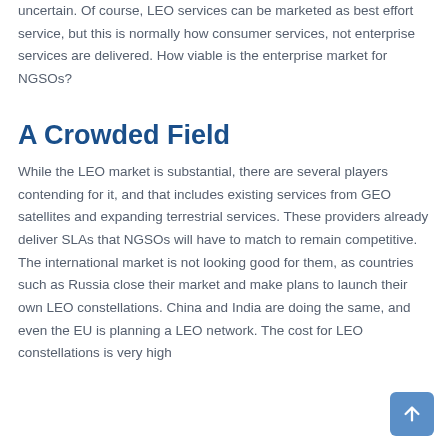uncertain. Of course, LEO services can be marketed as best effort service, but this is normally how consumer services, not enterprise services are delivered. How viable is the enterprise market for NGSOs?
A Crowded Field
While the LEO market is substantial, there are several players contending for it, and that includes existing services from GEO satellites and expanding terrestrial services. These providers already deliver SLAs that NGSOs will have to match to remain competitive. The international market is not looking good for them, as countries such as Russia close their market and make plans to launch their own LEO constellations. China and India are doing the same, and even the EU is planning a LEO network. The cost for LEO constellations is very high